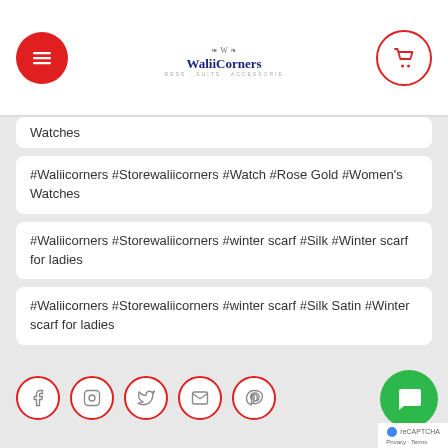WaliiCorners
Watches
#Waliicorners #Storewaliicorners #Watch #Rose Gold #Women's Watches
#Waliicorners #Storewaliicorners #winter scarf #Silk #Winter scarf for ladies
#Waliicorners #Storewaliicorners #winter scarf #Silk Satin #Winter scarf for ladies
#Waliicorners #Storewaliicorners #Women Shirts
#Waliicorners #Storewaliicorners #Women Shirts #Blouse
#Waliicorners #Storewaliicorners #Women Sweater #Knitwear
Social icons: Facebook, Instagram, Twitter, Email, Pinterest